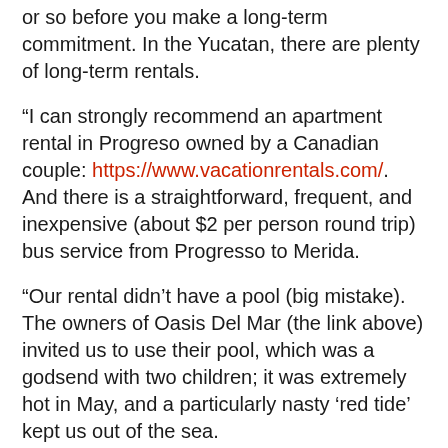or so before you make a long-term commitment. In the Yucatan, there are plenty of long-term rentals.
“I can strongly recommend an apartment rental in Progreso owned by a Canadian couple: https://www.vacationrentals.com/. And there is a straightforward, frequent, and inexpensive (about $2 per person round trip) bus service from Progresso to Merida.
“Our rental didn’t have a pool (big mistake). The owners of Oasis Del Mar (the link above) invited us to use their pool, which was a godsend with two children; it was extremely hot in May, and a particularly nasty ‘red tide’ kept us out of the sea.
“We have a motto as a result of our Yucatan experience: Try, try, try before you buy!”